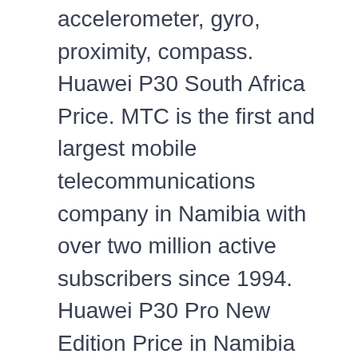accelerometer, gyro, proximity, compass. Huawei P30 South Africa Price. MTC is the first and largest mobile telecommunications company in Namibia with over two million active subscribers since 1994. Huawei P30 Pro New Edition Price in Namibia and Full Specifications. Telecommunication Company The Smartphone comes with 398 ppi pixel density and … Huawei P30 Pro Price in Namibia and Full Specifications. Huawei P30 release date is 24 March 2019 it is currently available and display screen size is 6.1 inches, internal memory is 64GB and 8GB ram, tag price is 4311 Hong Kong Dollar. Released 2019, March . p30 starting price approximately will be 6029.8794 NAD. It's already available to order which means